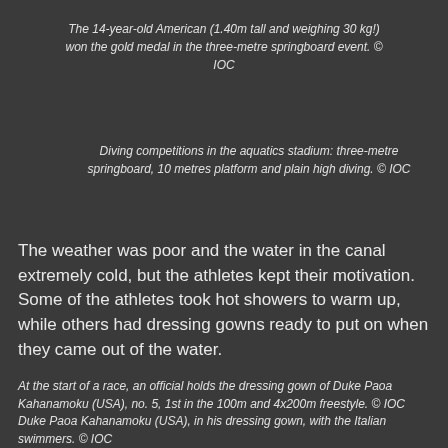The 14-year-old American (1.40m tall and weighing 30 kg!) won the gold medal in the three-metre springboard event. © IOC
Diving competitions in the aquatics stadium: three-metre springboard, 10 metres platform and plain high diving. © IOC
The weather was poor and the water in the canal extremely cold, but the athletes kept their motivation. Some of the athletes took hot showers to warm up, while others had dressing gowns ready to put on when they came out of the water.
At the start of a race, an official holds the dressing gown of Duke Paoa Kahanamoku (USA), no. 5, 1st in the 100m and 4x200m freestyle. © IOC
Duke Paoa Kahanamoku (USA), in his dressing gown, with the Italian swimmers. © IOC